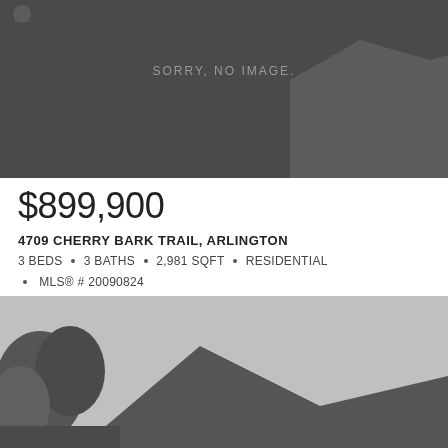[Figure (photo): Property listing image placeholder with dark gray background and house silhouette, text reading SORRY, NO IMAGE.]
$899,900
4709 CHERRY BARK TRAIL, ARLINGTON
3 BEDS • 3 BATHS • 2,981 SQFT • RESIDENTIAL • MLS® # 20090824
[Figure (photo): Property listing photo showing a house with trees and roofline visible, light gray sky background]